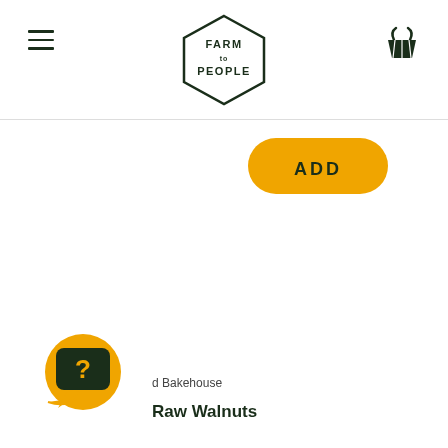Farm to People
[Figure (other): Orange ADD button (rounded rectangle)]
[Figure (other): Orange circular chat/help bubble icon with question mark]
d Bakehouse
Raw Walnuts